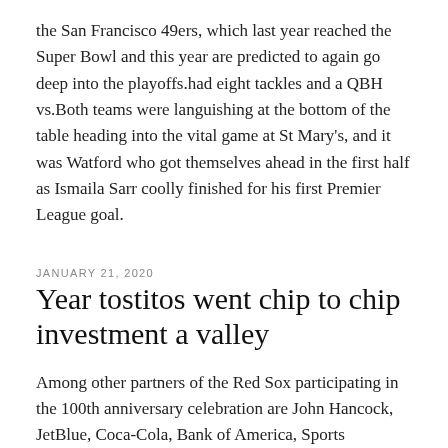the San Francisco 49ers, which last year reached the Super Bowl and this year are predicted to again go deep into the playoffs.had eight tackles and a QBH vs.Both teams were languishing at the bottom of the table heading into the vital game at St Mary's, and it was Watford who got themselves ahead in the first half as Ismaila Sarr coolly finished for his first Premier League goal.
JANUARY 21, 2020
Year tostitos went chip to chip investment a valley
Among other partners of the Red Sox participating in the 100th anniversary celebration are John Hancock, JetBlue, Coca-Cola, Bank of America, Sports Authority, Volvo, Custom Michael Gallup Jersey San Francisco 49ers